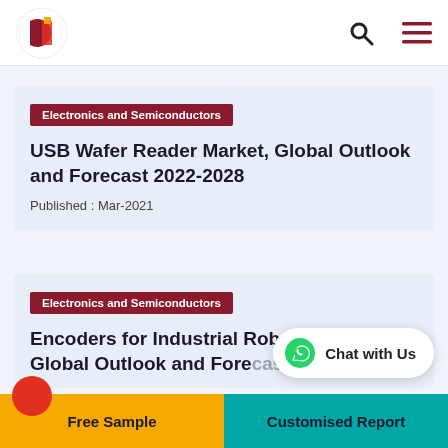Navigation header with logo, search icon, and menu icon
Electronics and Semiconductors
USB Wafer Reader Market, Global Outlook and Forecast 2022-2028
Published : Mar-2021
Electronics and Semiconductors
Encoders for Industrial Robots Market, Global Outlook and Forecast 2028
Chat with Us
Free Sample
Customised Report